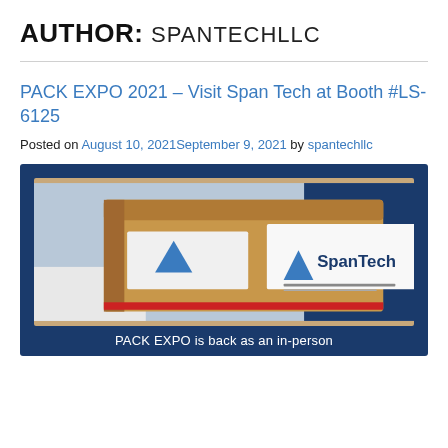AUTHOR: SPANTECHLLC
PACK EXPO 2021 – Visit Span Tech at Booth #LS-6125
Posted on August 10, 2021September 9, 2021 by spantechllc
[Figure (photo): Cardboard boxes on a conveyor with SpanTech branding/label visible]
PACK EXPO is back as an in-person